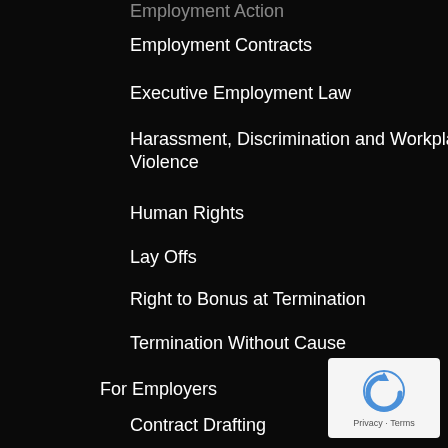Employment Contracts
Executive Employment Law
Harassment, Discrimination and Workplace Violence
Human Rights
Lay Offs
Right to Bonus at Termination
Termination Without Cause
For Employers
Contract Drafting
Workplace Investigations
Blog & COVID-19 Resource Centre
Contact
[Figure (logo): Google reCAPTCHA badge with blue arrow icon and Privacy · Terms text]